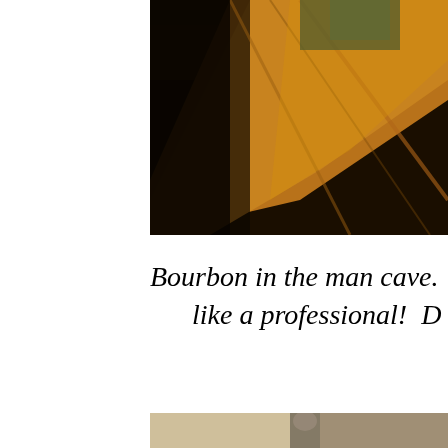[Figure (photo): Top portion of a photo showing wooden shelving or furniture interior, warm amber/brown tones with dark shadowed areas, appears to be a man cave or bar area with wood paneling.]
Bourbon in the man cave.  The owner r like a professional!  D
[Figure (photo): Bottom partial photo visible at the bottom edge of the page, showing a person or scene in muted tones.]